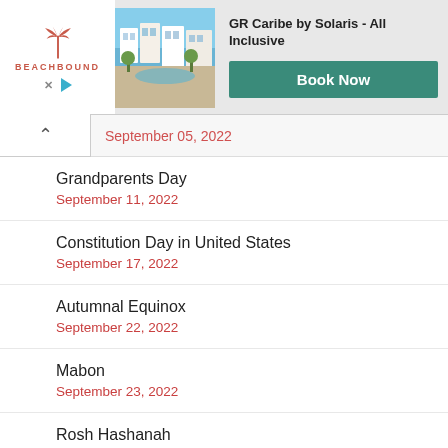[Figure (illustration): Advertisement banner for Beachbound travel showing 'GR Caribe by Solaris - All Inclusive' with a hotel photo and a teal 'Book Now' button]
September 05, 2022
Grandparents Day
September 11, 2022
Constitution Day in United States
September 17, 2022
Autumnal Equinox
September 22, 2022
Mabon
September 23, 2022
Rosh Hashanah
September 26, 2022
National Coffee Day
September 29, 2022